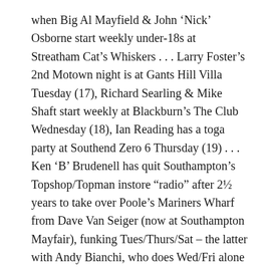when Big Al Mayfield & John 'Nick' Osborne start weekly under-18s at Streatham Cat's Whiskers . . . Larry Foster's 2nd Motown night is at Gants Hill Villa Tuesday (17), Richard Searling & Mike Shaft start weekly at Blackburn's The Club Wednesday (18), Ian Reading has a toga party at Southend Zero 6 Thursday (19) . . . Ken 'B' Brudenell has quit Southampton's Topshop/Topman instore "radio" after 2½ years to take over Poole's Mariners Wharf from Dave Van Seiger (now at Southampton Mayfair), funking Tues/Thurs/Sat – the latter with Andy Bianchi, who does Wed/Fri alone (so how about some charts, guys?) . . . Jeff Thomas is back from Norway at Pontardawe Mamma Mia's near